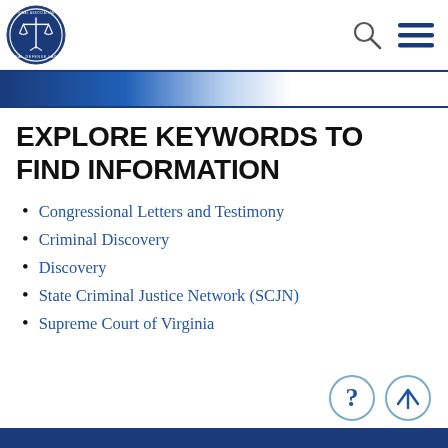National Association of Criminal Defense Lawyers logo, search icon, menu icon
EXPLORE KEYWORDS TO FIND INFORMATION
Congressional Letters and Testimony
Criminal Discovery
Discovery
State Criminal Justice Network (SCJN)
Supreme Court of Virginia